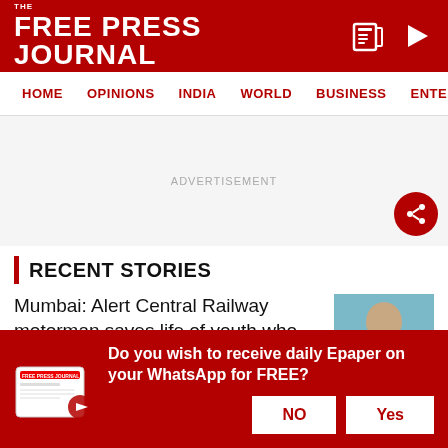THE FREE PRESS JOURNAL
HOME  OPINIONS  INDIA  WORLD  BUSINESS  ENTERTAIN
ADVERTISEMENT
RECENT STORIES
Mumbai: Alert Central Railway motorman saves life of youth who was trying to commit suicide at...
[Figure (photo): Photo of a person, likely a railway motorman]
Do you wish to receive daily Epaper on your WhatsApp for FREE?